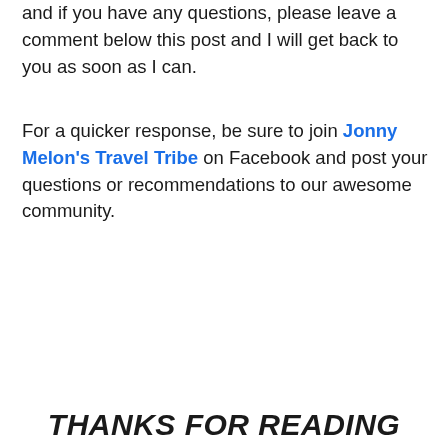and if you have any questions, please leave a comment below this post and I will get back to you as soon as I can.
For a quicker response, be sure to join Jonny Melon's Travel Tribe on Facebook and post your questions or recommendations to our awesome community.
THANKS FOR READING